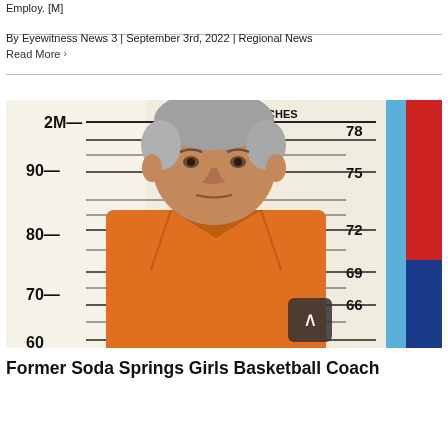Employ. [M]
By Eyewitness News 3 | September 3rd, 2022 | Regional News
Read More ›
[Figure (photo): Mugshot of a middle-aged man in an orange jumpsuit against a height measurement ruler background showing marks at 2M/78 inches, 90/75, 80/72, 70/69, 66 inches]
Former Soda Springs Girls Basketball Coach